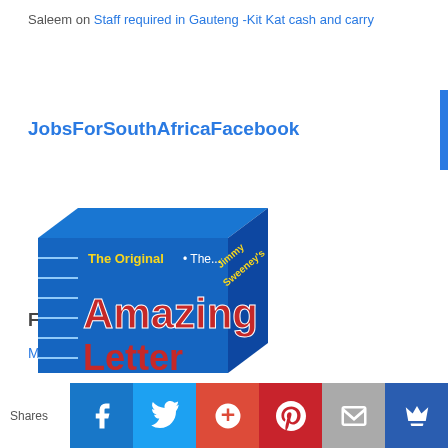Saleem on Staff required in Gauteng -Kit Kat cash and carry
JobsForSouthAfricaFacebook
Follow me on Twitter
My Tweets
[Figure (photo): Product box labelled 'The Original • The Amazing Letter' by Jimmy Sweeney, with blue and red packaging]
Shares | Facebook | Twitter | G+ | Pinterest | Email | Crown